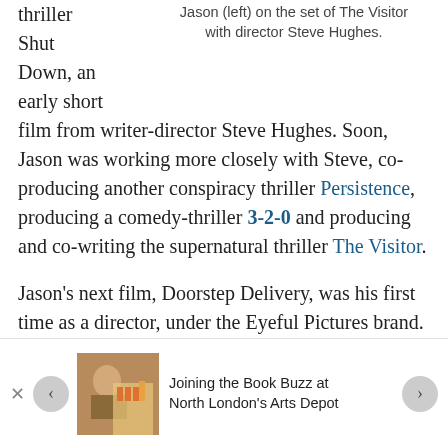thriller Shut Down, an early short film from writer-director Steve Hughes. Soon, Jason was working more closely with Steve, co-producing another conspiracy thriller Persistence, producing a comedy-thriller 3-2-0 and producing and co-writing the supernatural thriller The Visitor.
Jason (left) on the set of The Visitor with director Steve Hughes.
Jason's next film, Doorstep Delivery, was his first time as a director, under the Eyeful Pictures brand. It got off to a slow start, because being used to being the producer and writer, he was waiting for
[Figure (photo): Thumbnail photo of a person at a book event]
Joining the Book Buzz at North London's Arts Depot